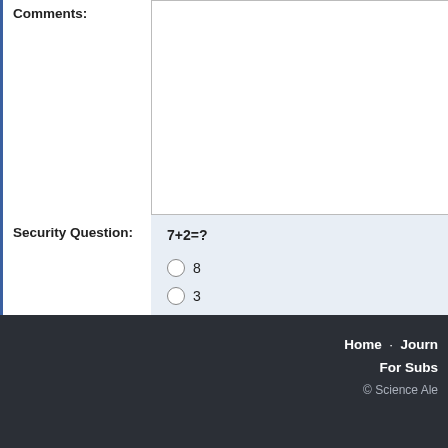Comments:
Security Question:
7+2=?
8
3
9
Home · Journ  For Subs  © Science Ale